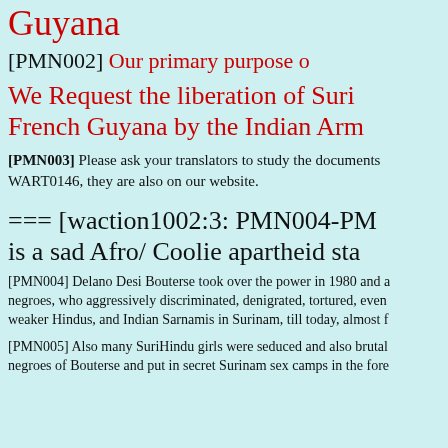Guyana
[PMN002] Our primary purpose o
We Request the liberation of Suri... French Guyana by the Indian Arm...
[PMN003] Please ask your translators to study the documents WART0146, they are also on our website.
=== [waction1002:3: PMN004-PM is a sad Afro/ Coolie apartheid sta
[PMN004] Delano Desi Bouterse took over the power in 1980 and a negroes, who aggressively discriminated, denigrated, tortured, even weaker Hindus, and Indian Sarnamis in Surinam, till today, almost f
[PMN005] Also many SuriHindu girls were seduced and also brutal negroes of Bouterse and put in secret Surinam sex camps in the fore